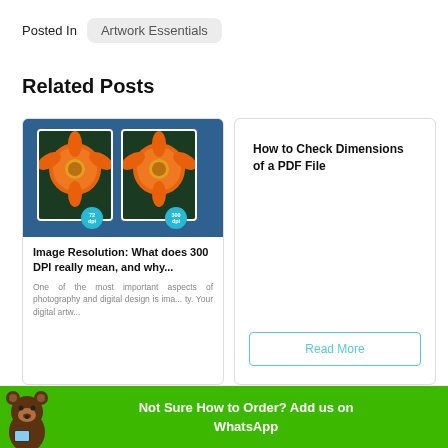Posted In  Artwork Essentials
Related Posts
[Figure (photo): Thumbnail image showing two orange gerbera daisy photos side by side on a blue background, one labeled 72 dpi and the other 300 dpi]
Image Resolution: What does 300 DPI really mean, and why...
One of the most important aspects of photography and digital design is ima... ty. Your digital artw...
How to Check Dimensions of a PDF File
Read More
Not Sure How to Order? Add us on WhatsApp